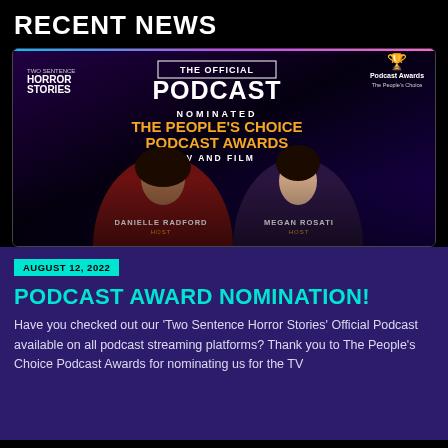RECENT NEWS
[Figure (photo): Podcast award nomination promotional image showing Two Sentence Horror Stories Official Podcast nominated for The People's Choice Podcast Awards - TV and Film category, featuring hosts Danielle Radford and Megan Rosati]
AUGUST 12, 2022
PODCAST AWARD NOMINATION!
Have you checked out our 'Two Sentence Horror Stories' Official Podcast available on all podcast streaming platforms? Thank you to The People's Choice Podcast Awards for nominating us for the TV